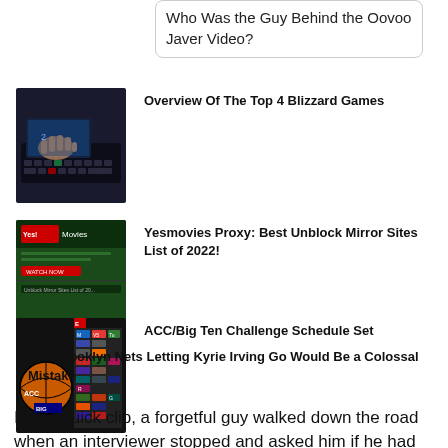Who Was the Guy Behind the Oovoo Javer Video?
Overview Of The Top 4 Blizzard Games
Yesmovies Proxy: Best Unblock Mirror Sites List of 2022!
ACC/Big Ten Challenge Schedule Set
The Brooklyn Nets Letting Kyrie Irving Go Would Be a Colossal Mistake
In the quick clip, a forgetful guy walked down the road when an interviewer stopped and asked him if he had ever